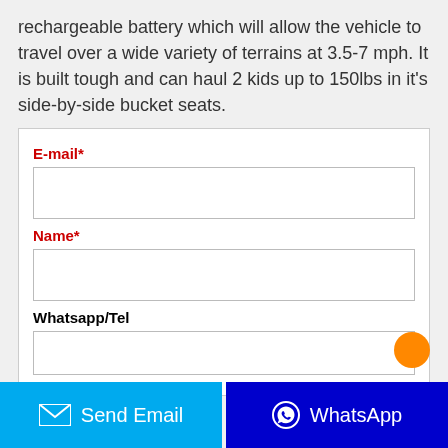rechargeable battery which will allow the vehicle to travel over a wide variety of terrains at 3.5-7 mph. It is built tough and can haul 2 kids up to 150lbs in it's side-by-side bucket seats.
E-mail*
Name*
Whatsapp/Tel
Send Email
WhatsApp